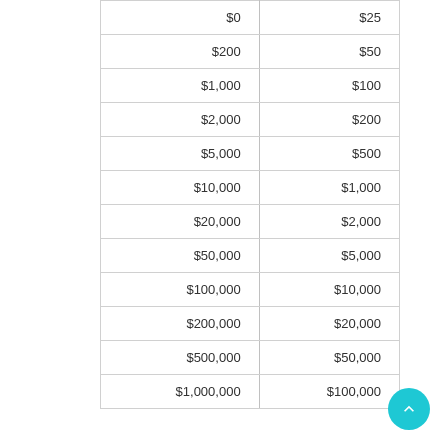| $0 | $25 |
| $200 | $50 |
| $1,000 | $100 |
| $2,000 | $200 |
| $5,000 | $500 |
| $10,000 | $1,000 |
| $20,000 | $2,000 |
| $50,000 | $5,000 |
| $100,000 | $10,000 |
| $200,000 | $20,000 |
| $500,000 | $50,000 |
| $1,000,000 | $100,000 |